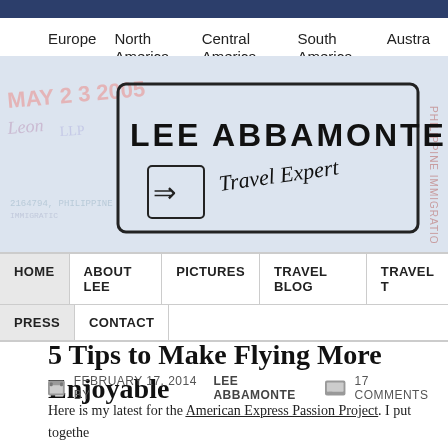Europe  North America  Central America  South America  Austra...  Antarctica
[Figure (logo): Lee Abbamonte Travel Expert logo — passport stamp style with handwritten text and arrow icon on passport background]
HOME  ABOUT LEE  PICTURES  TRAVEL BLOG  TRAVEL T...  PRESS  CONTACT
5 Tips to Make Flying More Enjoyable
FEBRUARY 17, 2014 BY LEE ABBAMONTE  17 COMMENTS
Here is my latest for the American Express Passion Project. I put together... enjoyable based on my experiences traveling to every country in the worl... make my life easier in the air. Feel free to comment your own tips and I h...